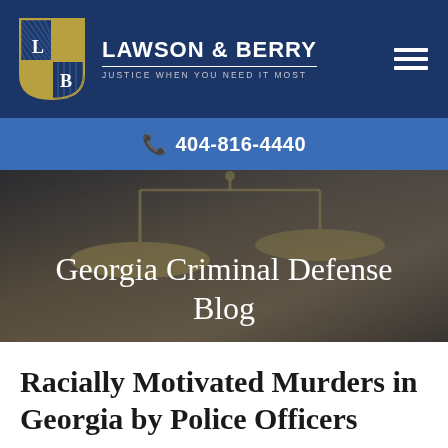LAWSON & BERRY — JUSTICE WHEN YOU NEED IT MOST
404-816-4440
Georgia Criminal Defense Blog
Racially Motivated Murders in Georgia by Police Officers